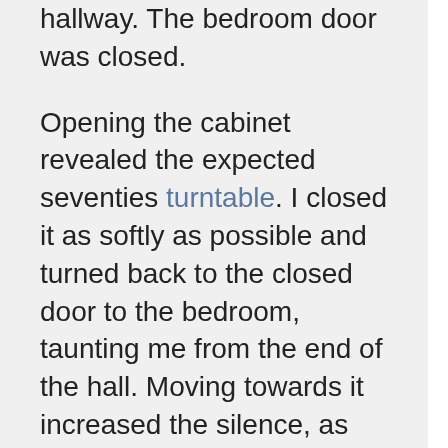hallway. The bedroom door was closed.
Opening the cabinet revealed the expected seventies turntable. I closed it as softly as possible and turned back to the closed door to the bedroom, taunting me from the end of the hall. Moving towards it increased the silence, as more than the convex hull that made up me held its breath; an alterdimensional pause in the heartbeat that penetrated into the soul.
Turn the knob.
Hinges that swing noiselessly, thank whatever's holy. A darkened room; a dark shape for the bed. I moved inside,